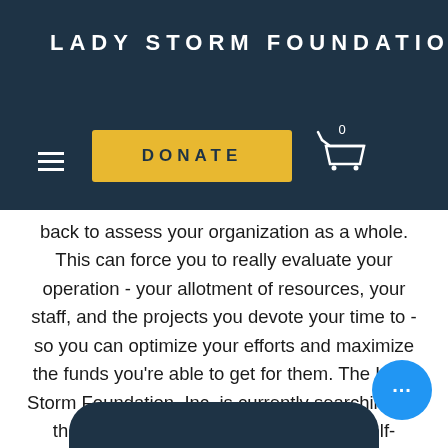LADY STORM FOUNDATION
e least. hought ing a step back to assess your organization as a whole. This can force you to really evaluate your operation - your allotment of resources, your staff, and the projects you devote your time to - so you can optimize your efforts and maximize the funds you’re able to get for them. The Lady Storm Foundation, Inc. is currently searching for those people who are self-motivated, self-starters to head up our fundraising section to maximize efforts to fully fund the causes we hold so d